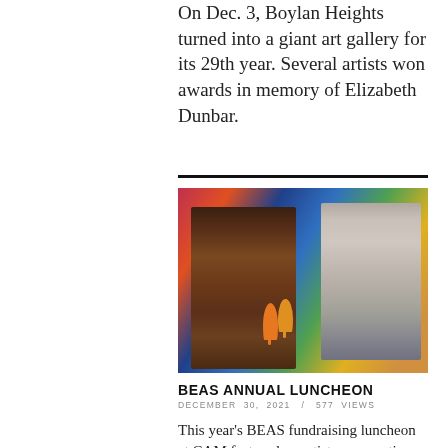On Dec. 3, Boylan Heights turned into a giant art gallery for its 29th year. Several artists won awards in memory of Elizabeth Dunbar.
[Figure (photo): Two women smiling and posing at a table, holding orange maracas, in front of a large colorful art backdrop.]
BEAS ANNUAL LUNCHEON
DECEMBER 30, 2021   /   577 VIEWS
This year's BEAS fundraising luncheon at CAM featured an artist conversation with John Shenck...